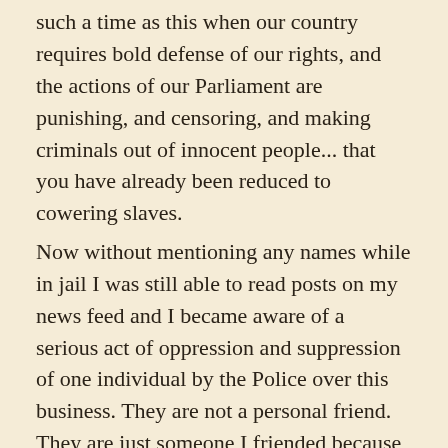such a time as this when our country requires bold defense of our rights, and the actions of our Parliament are punishing, and censoring, and making criminals out of innocent people... that you have already been reduced to cowering slaves. Now without mentioning any names while in jail I was still able to read posts on my news feed and I became aware of a serious act of oppression and suppression of one individual by the Police over this business. They are not a personal friend. They are just someone I friended because they made many libertarian oriented posts that I agree with, and I even signed onto one of their 'rights pages'... and from their personal posts that were written about their 'visits from the police', I am very concerned about what is happening to our rights and liberties... and yet this person then